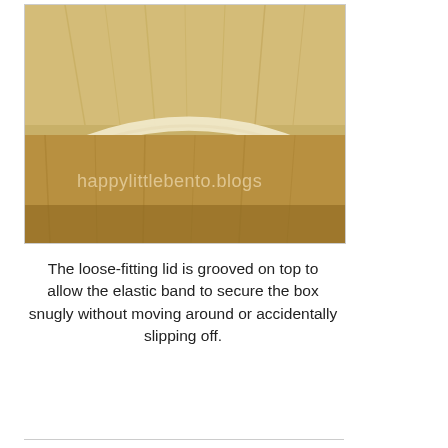[Figure (photo): Close-up photograph of a wooden bento box lid showing the curved wooden grain and groove detail. A watermark reads 'happylittlebento.blogs' across the lower middle of the photo.]
The loose-fitting lid is grooved on top to allow the elastic band to secure the box snugly without moving around or accidentally slipping off.